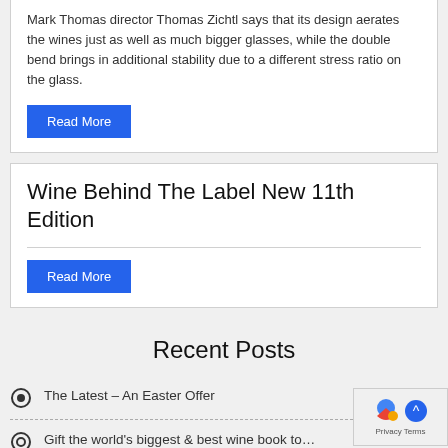Mark Thomas director Thomas Zichtl says that its design aerates the wines just as well as much bigger glasses, while the double bend brings in additional stability due to a different stress ratio on the glass.
Read More
Wine Behind The Label New 11th Edition
Read More
Recent Posts
The Latest – An Easter Offer
Gift the world's biggest & best wine book to…